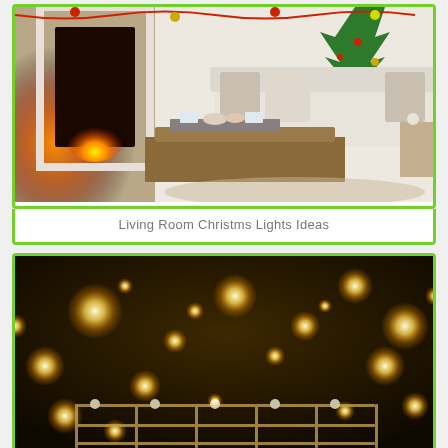[Figure (photo): Cozy Christmas living room with fireplace, white sofa with pillows, wooden coffee table with tray of treats and gift wrap, Christmas tree visible, holiday decorations]
Living Room Christms Lights Ideas
[Figure (photo): Bokeh Christmas lights photo with warm golden glowing orbs against dark background, decorative grid/lantern structure visible in lower portion]